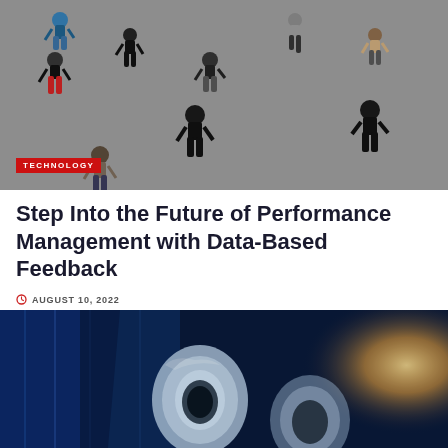[Figure (photo): Aerial/top-down view of people walking on a grey paved surface, photographed from above. People visible in colorful clothing.]
TECHNOLOGY
Step Into the Future of Performance Management with Data-Based Feedback
AUGUST 10, 2022
[Figure (photo): Close-up photo of blue industrial pipes or tubes with a bright sunlight flare in the background creating warm orange glow.]